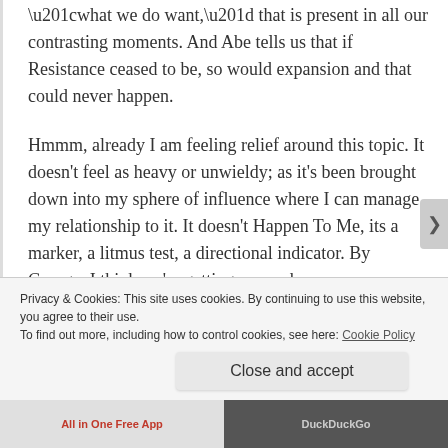“what we do want,” that is present in all our contrasting moments. And Abe tells us that if Resistance ceased to be, so would expansion and that could never happen.
Hmmm, already I am feeling relief around this topic. It doesn’t feel as heavy or unwieldy; as it’s been brought down into my sphere of influence where I can manage my relationship to it. It doesn’t Happen To Me, its a marker, a litmus test, a directional indicator. By George, I think we’re getting somewhere.
Since we can’t do away with it, we must learn how to manage it. Here’s the plu-perfect formula for us
Privacy & Cookies: This site uses cookies. By continuing to use this website, you agree to their use.
To find out more, including how to control cookies, see here: Cookie Policy
Close and accept